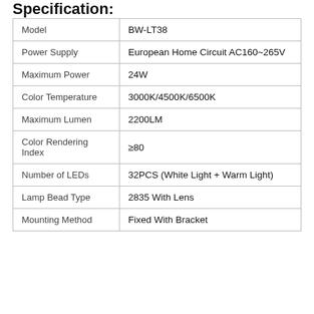Specification:
|  |  |
| --- | --- |
| Model | BW-LT38 |
| Power Supply | European Home Circuit AC160~265V |
| Maximum Power | 24W |
| Color Temperature | 3000K/4500K/6500K |
| Maximum Lumen | 2200LM |
| Color Rendering Index | ≥80 |
| Number of LEDs | 32PCS (White Light + Warm Light) |
| Lamp Bead Type | 2835 With Lens |
| Mounting Method | Fixed With Bracket |